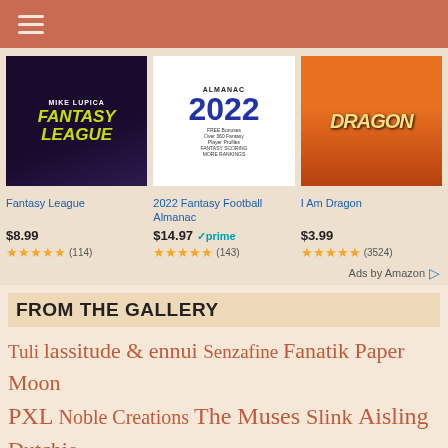Navigation menu
[Figure (photo): Book cover: Fantasy League by Mike Lupica]
[Figure (photo): Book cover: 2022 Fantasy Football Almanac]
[Figure (photo): Book cover: I Am Dragon]
Fantasy League
$8.99 ★★★★★ (114)
2022 Fantasy Football Almanac
$14.97 ✓prime ★★★★★ (143)
I Am Dragon
$3.99 ★★★★★ (3524)
Ads by Amazon ▷
FROM THE GALLERY
Tuli lassitude & ennui Senzafine Fanatik Paper Moon PXL Noble Creations The Muses Slink Aisling Dutchie Vista Mesh Luxuria Faida Wasabi Roawenwood alaskametro Truth The Plastik Exile